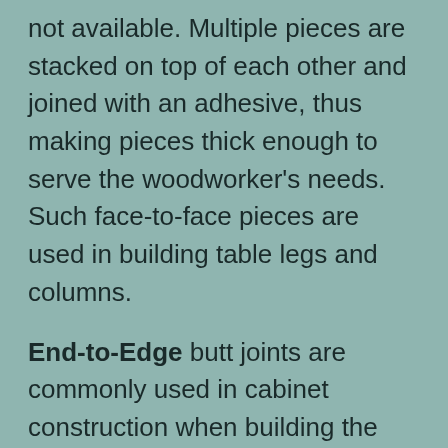not available. Multiple pieces are stacked on top of each other and joined with an adhesive, thus making pieces thick enough to serve the woodworker's needs. Such face-to-face pieces are used in building table legs and columns.
End-to-Edge butt joints are commonly used in cabinet construction when building the cabinet face frames. The end of one piece is butted, 90 degrees, to the edge of another piece. Such joints are not strong unless affixed to a backing structure such as the cabinet sides, bottoms, shelves and such. Edge-to-edge butt joints are